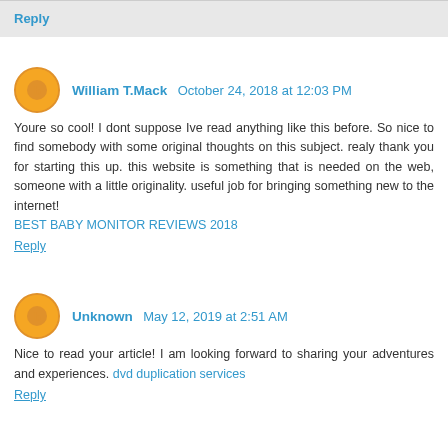Reply
William T.Mack  October 24, 2018 at 12:03 PM
Youre so cool! I dont suppose Ive read anything like this before. So nice to find somebody with some original thoughts on this subject. realy thank you for starting this up. this website is something that is needed on the web, someone with a little originality. useful job for bringing something new to the internet!
BEST BABY MONITOR REVIEWS 2018
Reply
Unknown  May 12, 2019 at 2:51 AM
Nice to read your article! I am looking forward to sharing your adventures and experiences. dvd duplication services
Reply